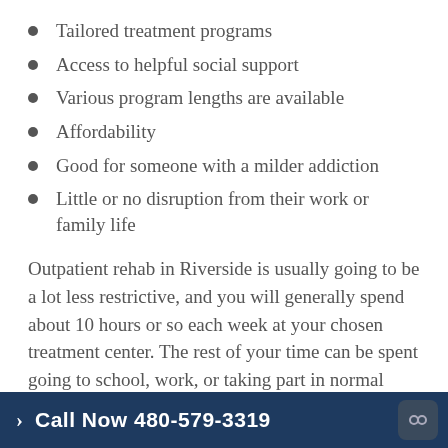Tailored treatment programs
Access to helpful social support
Various program lengths are available
Affordability
Good for someone with a milder addiction
Little or no disruption from their work or family life
Outpatient rehab in Riverside is usually going to be a lot less restrictive, and you will generally spend about 10 hours or so each week at your chosen treatment center. The rest of your time can be spent going to school, work, or taking part in normal daily activities. It is all about
Call Now 480-579-3319